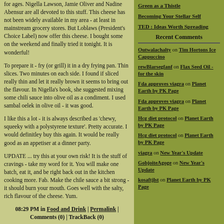for ages. Nigella Lawson, Jamie Oliver and Nadine Abensur are all devoted to this stuff. This cheese has not been widely available in my area - at least in mainstream grocery stores. But Loblaws (President's Choice Label) now offer this cheese. I bought some on the weekend and finally tried it tonight. It is wonderful!
To prepare it - fry (or grill) it in a dry frying pan. Thin slices. Two minutes on each side. I found if sliced really thin and let it really brown it seems to bring out the flavour. In Nigella's book, she suggested mixing some chili sauce into olive oil as a condiment. I used sambal oelek in olive oil - it was good.
I like this a lot - it is always described as 'chewy, squeeky with a polystyrene texture'. Pretty accurate. I would definitley buy this again. It would be really good as an appetiser at a dinner party.
UPDATE ... try this at your own risk! It is the stuff of cravings - take my word for it. You will make one batch, eat it, and be right back out in the kitchen cooking more. Fab. Make the chile sauce a bit strong - it should burn your mouth. Goes well with the salty, rich flavour of the cheese. Yum.
08:29 PM in Food and Drink | Permalink | Comments (0) | TrackBack (0)
Green as a Thistle
Becoming Your Stellar Self
TED : Ideas Worth Spreading
Recent Comments
Outwalachalty on Tim Hortons Ice Cappuccino
rewBlarsegfanf on Flax Seed Oil - for the skin
Fda approves viagra on Planet Earth by PK Page
Fda approves viagra on Planet Earth by PK Page
Hcg diet protocol on Planet Earth by PK Page
Hcg diet protocol on Planet Earth by PK Page
viagra on New Year's Update
GobjoiteAgoge on New Year's Update
kosaftjlst on Planet Earth by PK Page